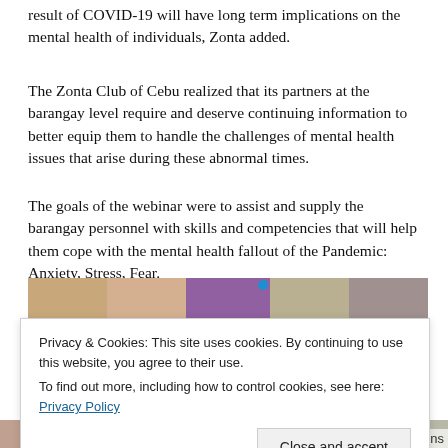result of COVID-19 will have long term implications on the mental health of individuals, Zonta added.
The Zonta Club of Cebu realized that its partners at the barangay level require and deserve continuing information to better equip them to handle the challenges of mental health issues that arise during these abnormal times.
The goals of the webinar were to assist and supply the barangay personnel with skills and competencies that will help them cope with the mental health fallout of the Pandemic: Anxiety, Stress, Fear.
[Figure (photo): Screenshot of a video call showing multiple participants in a webinar, with faces visible in a grid layout]
Privacy & Cookies: This site uses cookies. By continuing to use this website, you agree to their use.
To find out more, including how to control cookies, see here: Privacy Policy
Close and accept